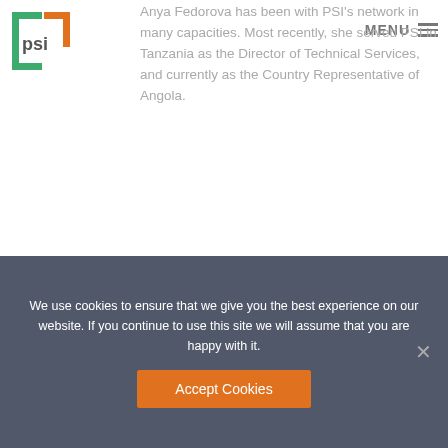[Figure (logo): PSI logo — square bracket design in green/orange with 'psi' text]
MENU ≡
Anya Fedorova has been with PSI's network in many capacities. Most recently, she served PSI in Tanzania as the Director of Technical Services, and currently as the Country Representative of Angola.
[Figure (illustration): Colorful geometric pattern of squares and triangles in teal, magenta, yellow, black, and green checkerboard]
LATEST UPDATES
We use cookies to ensure that we give you the best experience on our website. If you continue to use this site we will assume that you are happy with it.